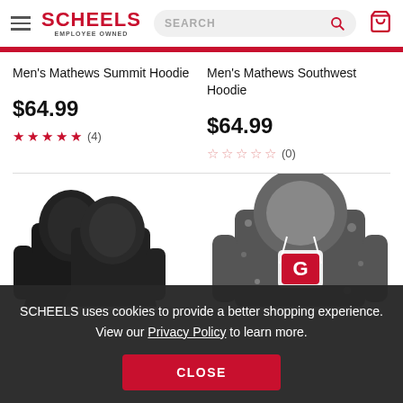SCHEELS EMPLOYEE OWNED — Search bar — Cart icon
Men's Mathews Summit Hoodie
$64.99 ★★★★★ (4)
Men's Mathews Southwest Hoodie
$64.99 ☆☆☆☆☆ (0)
[Figure (photo): Two black hooded sweatshirts shown from behind]
[Figure (photo): Gray and black patterned hoodie with a logo on the chest]
SCHEELS uses cookies to provide a better shopping experience. View our Privacy Policy to learn more.
CLOSE